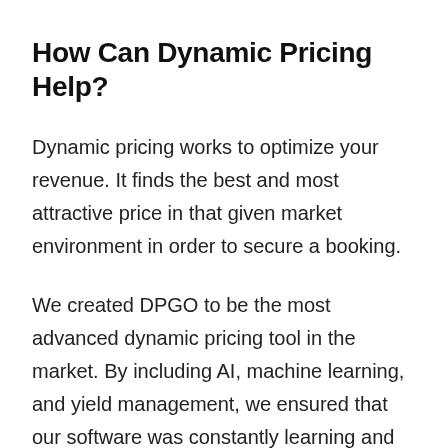How Can Dynamic Pricing Help?
Dynamic pricing works to optimize your revenue. It finds the best and most attractive price in that given market environment in order to secure a booking.
We created DPGO to be the most advanced dynamic pricing tool in the market. By including AI, machine learning, and yield management, we ensured that our software was constantly learning and improving its smart pricing recommendations. Pricing algorithms are complicated, but we knew exactly the type of